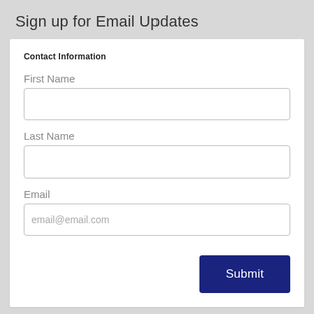Sign up for Email Updates
Contact Information
First Name
Last Name
Email
Submit